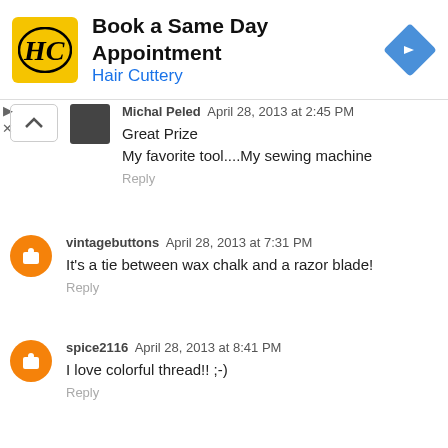[Figure (other): Hair Cuttery advertisement banner with logo, text 'Book a Same Day Appointment', 'Hair Cuttery', and navigation arrow icon]
Michal Peled  April 28, 2013 at 2:45 PM
Great Prize
My favorite tool....My sewing machine
Reply
vintagebuttons  April 28, 2013 at 7:31 PM
It's a tie between wax chalk and a razor blade!
Reply
spice2116  April 28, 2013 at 8:41 PM
I love colorful thread!! ;-)
Reply